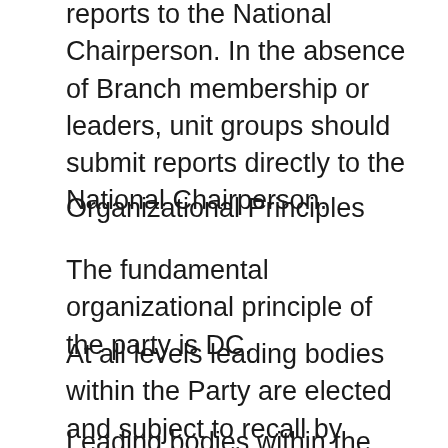reports to the National Chairperson. In the absence of Branch membership or leaders, unit groups should submit reports directly to the National Chairperson.
Organizational Principles
The fundamental organizational principle of the party is DC.
At all levels leading bodies within the Party are elected and subject to recall by democratic decision.
Leading bodies within the Party shall regularly